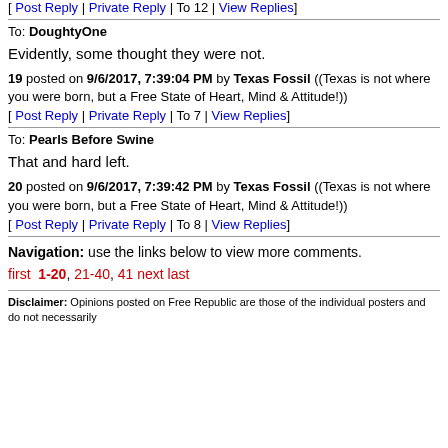[ Post Reply | Private Reply | To 12 | View Replies]
To: DoughtyOne
Evidently, some thought they were not.
19 posted on 9/6/2017, 7:39:04 PM by Texas Fossil ((Texas is not where you were born, but a Free State of Heart, Mind & Attitude!))
[ Post Reply | Private Reply | To 7 | View Replies]
To: Pearls Before Swine
That and hard left.
20 posted on 9/6/2017, 7:39:42 PM by Texas Fossil ((Texas is not where you were born, but a Free State of Heart, Mind & Attitude!))
[ Post Reply | Private Reply | To 8 | View Replies]
Navigation: use the links below to view more comments. first 1-20, 21-40, 41 next last
Disclaimer: Opinions posted on Free Republic are those of the individual posters and do not necessarily